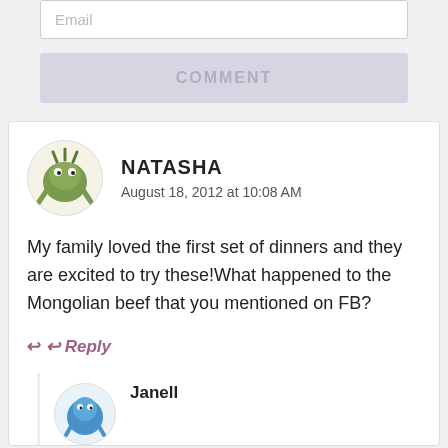Email
COMMENT
NATASHA
August 18, 2012 at 10:08 AM
My family loved the first set of dinners and they are excited to try these!What happened to the Mongolian beef that you mentioned on FB?
Reply
373
Janell